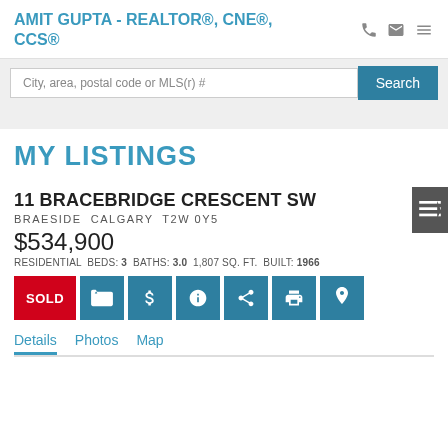AMIT GUPTA - REALTOR®, CNE®, CCS®
City, area, postal code or MLS(r) #
MY LISTINGS
11 BRACEBRIDGE CRESCENT SW
BRAESIDE  CALGARY  T2W 0Y5
$534,900
RESIDENTIAL  BEDS: 3  BATHS: 3.0  1,807 SQ. FT.  BUILT: 1966
SOLD
Details  Photos  Map